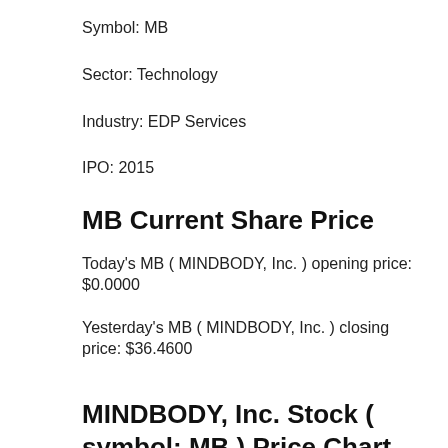Symbol: MB
Sector: Technology
Industry: EDP Services
IPO: 2015
MB Current Share Price
Today's MB ( MINDBODY, Inc. ) opening price: $0.0000
Yesterday's MB ( MINDBODY, Inc. ) closing price: $36.4600
MINDBODY, Inc. Stock ( symbol: MB ) Price Chart since IPO (2015):